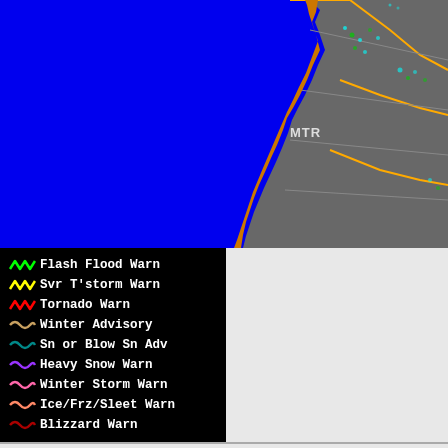[Figure (map): Weather radar map showing the California coast (Pacific Ocean in blue, land in gray/brown) with county/state boundaries in orange/yellow. MTR label visible. Small colored radar returns visible near San Francisco Bay area and inland.]
[Figure (infographic): Legend box on black background listing weather warning types with colored wavy line icons: Flash Flood Warn (green), Svr T'storm Warn (yellow), Tornado Warn (red), Winter Advisory (tan/beige), Sn or Blow Sn Adv (dark teal), Heavy Snow Warn (purple), Winter Storm Warn (pink), Ice/Frz/Sleet Warn (salmon/light red), Blizzard Warn (dark red)]
Warnings Valid at: 31 Aug 2022 02:21 PM CDT
FL | Tornado Warning (View Text) expires 02:45 PM by JAX (HESS)